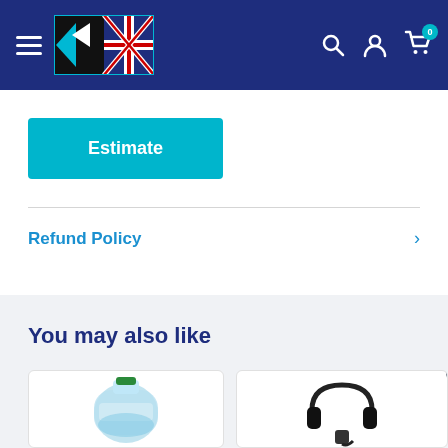[Figure (logo): UK retailer logo with British flag and geometric design on dark blue navigation bar]
[Figure (illustration): Estimate button (cyan/teal color)]
Refund Policy
You may also like
[Figure (photo): Large water cooler bottle (clear blue plastic, green cap)]
[Figure (photo): Black product (possibly office chair or similar item)]
Chat with us